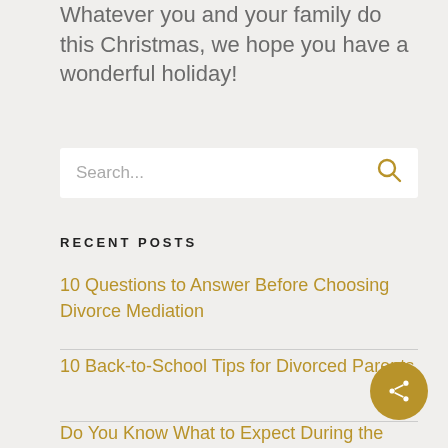Whatever you and your family do this Christmas, we hope you have a wonderful holiday!
Search...
RECENT POSTS
10 Questions to Answer Before Choosing Divorce Mediation
10 Back-to-School Tips for Divorced Parents
Do You Know What to Expect During the Divorce Process? Part Two